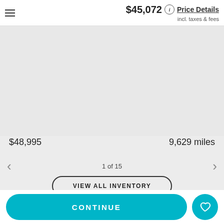$45,072 incl. taxes & fees   Price Details
[Figure (photo): Gray placeholder area for vehicle photo]
$48,995
9,629 miles
1 of 15
VIEW ALL INVENTORY
CONTINUE